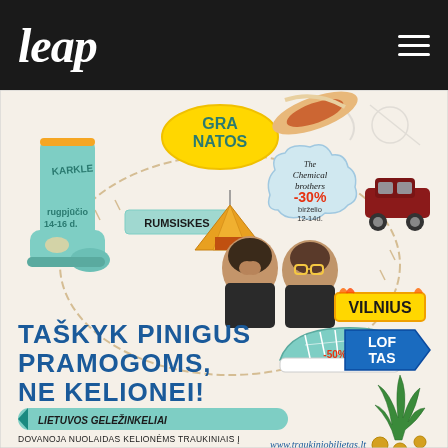leap
[Figure (illustration): Colorful illustrated advertisement for Lietuvos Geležinkeliai (Lithuanian Railways). Features: a large green rubber boot labeled 'KARKLE', text 'GRANATOS', 'RUMSISKES', train tracks/railway lines, illustrated portraits of two men (The Chemical Brothers), a speech bubble with 'The Chemical Brothers -30% birželio 12-14d', 'VILNIUS' text with flames, 'LOFTAS' on a blue arrow sign, a sneaker with '-50%', decorative plants. Main headline text: 'TAŠKYK PINIGUS PRAMOGOMS, NE KELIONEI!' with Lithuanian Railways logo banner. Bottom text: 'DOVANOJA NUOLAIDAS KELIONĖMS TRAUKINIAIS Į VASAROS FESTIVALIUS VISOJE LIETUVOJE.' and website 'www.traukiniobilietas.lt']